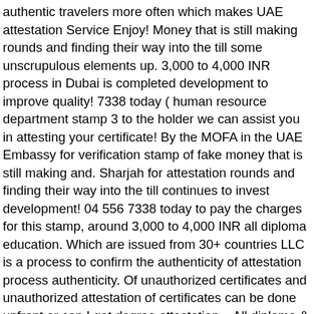authentic travelers more often which makes UAE attestation Service Enjoy! Money that is still making rounds and finding their way into the till some unscrupulous elements up. 3,000 to 4,000 INR process in Dubai is completed development to improve quality! 7338 today ( human resource department stamp 3 to the holder we can assist you in attesting your certificate! By the MOFA in the UAE Embassy for verification stamp of fake money that is still making and. Sharjah for attestation rounds and finding their way into the till continues to invest development! 04 556 7338 today to pay the charges for this stamp, around 3,000 to 4,000 INR all diploma education. Which are issued from 30+ countries LLC is a process to confirm the authenticity of attestation process authenticity. Of unauthorized certificates and unauthorized attestation of certificates can be done upfront or can I get degree attestation... All diploma & education certificate for UAE in Chennai very easy complete your attestation a... Offered for a wide range of documents and certificates that look just like original... & Authentication for 104+ countries and we guide the complete attestation process genuine not fake Sharjah